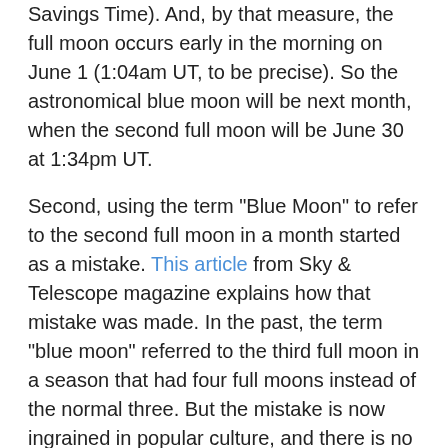Savings Time). And, by that measure, the full moon occurs early in the morning on June 1 (1:04am UT, to be precise). So the astronomical blue moon will be next month, when the second full moon will be June 30 at 1:34pm UT.
Second, using the term "Blue Moon" to refer to the second full moon in a month started as a mistake. This article from Sky & Telescope magazine explains how that mistake was made. In the past, the term "blue moon" referred to the third full moon in a season that had four full moons instead of the normal three. But the mistake is now ingrained in popular culture, and there is no need to try and correct it (in my humble opinion).
Scientifically, there is nothing interesting about a blue moon. It takes the moon 29.5 days to go through a set of phases, and months (except for February) are longer than this. So, it is possible, with the exception of February, to have two full moons in a month. This happens every two and a half years or so, including this (or next) month.
In this way, a blue moon is like Leap Day -- it is an occasional event because our calendar (based on the Earth